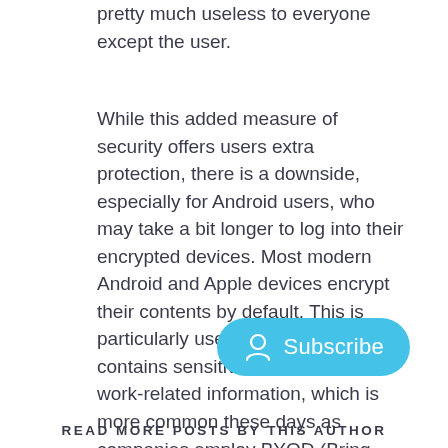pretty much useless to everyone except the user.
While this added measure of security offers users extra protection, there is a downside, especially for Android users, who may take a bit longer to log into their encrypted devices. Most modern Android and Apple devices encrypt their contents by default. This is particularly useful if your phone contains sensitive data or other work-related information, which is more common these days as companies employ BYOD (Bring Your Own Device) policies.
[Figure (other): Subscribe button with user icon]
READ MORE POSTS BY THIS AUTHOR